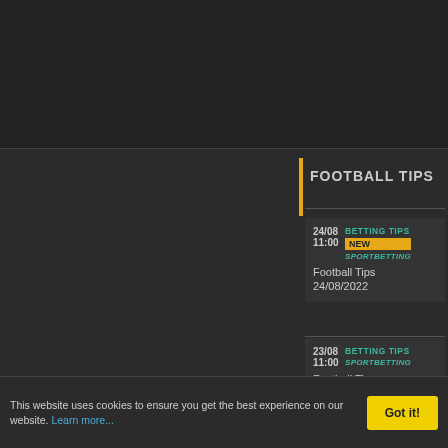FOOTBALL TIPS
24/08 11:00 BETTING TIPS NEW SPORTBETTING Football Tips 24/08/2022
23/08 11:00 BETTING TIPS SPORTBETTING Football Tips 23/08/2022
22/08 11:00 BETTING TIPS SPORTBETTING Football Tips 22/08/2022
This website uses cookies to ensure you get the best experience on our website. Learn more...